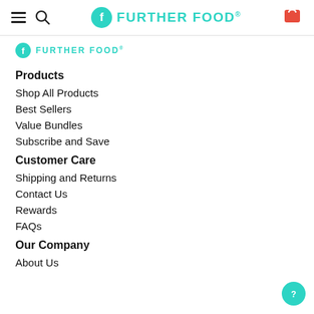Further Food® — navigation header with hamburger, search, logo, and cart
[Figure (logo): Further Food® teal logo with circle-F icon and brand name in teal]
Products
Shop All Products
Best Sellers
Value Bundles
Subscribe and Save
Customer Care
Shipping and Returns
Contact Us
Rewards
FAQs
Our Company
About Us